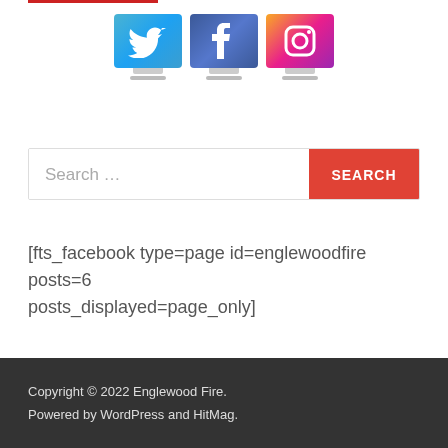[Figure (illustration): Three social media icons (Twitter, Facebook, Instagram) displayed on monitor/computer screens side by side]
[Figure (other): Search bar with placeholder text 'Search...' and a red SEARCH button]
[fts_facebook type=page id=englewoodfire posts=6 posts_displayed=page_only]
Copyright © 2022 Englewood Fire.
Powered by WordPress and HitMag.